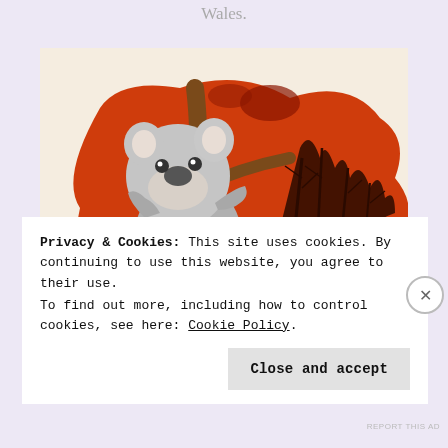Wales.
[Figure (illustration): Illustration of a koala clinging to a brown tree branch, set against a red/orange silhouette of the map of Australia with dark fiery trees in the background, on a cream/beige background. A second smaller koala figure is visible at the bottom center.]
Privacy & Cookies: This site uses cookies. By continuing to use this website, you agree to their use.
To find out more, including how to control cookies, see here: Cookie Policy
Close and accept